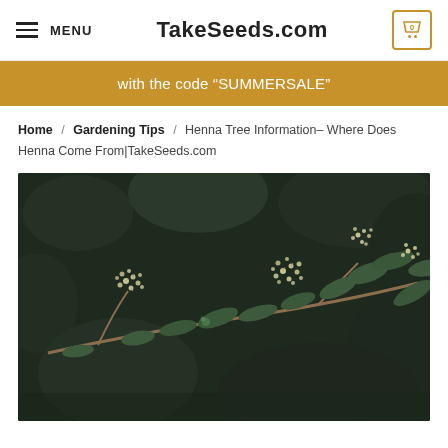MENU | TakeSeeds.com | 0
with the code “SUMMERSALE”
Home / Gardening Tips / Henna Tree Information– Where Does Henna Come From|TakeSeeds.com
[Figure (photo): Close-up photograph of a henna tree branch with clusters of small white-yellow flowers against dark green foliage and blurred dark background]